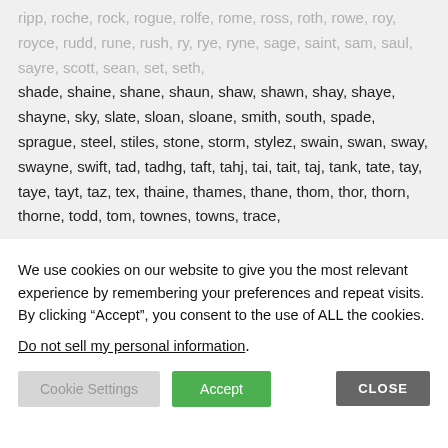ripp, roche, rock, rogue, rolfe, rome, ross, roth, rowe, roy, royce, rudd, rune, rush, ry, rye, ryne, sage, saint, sam, saul, sayre, scott, sean, set, seth, shade, shaine, shane, shaun, shaw, shawn, shay, shaye, shayne, sky, slate, sloan, sloane, smith, south, spade, sprague, steel, stiles, stone, storm, stylez, swain, swan, sway, swayne, swift, tad, tadhg, taft, tahj, tai, tait, taj, tank, tate, tay, taye, tayt, taz, tex, thaine, thames, thane, thom, thor, thorn, thorne, todd, tom, townes, towns, trace,
We use cookies on our website to give you the most relevant experience by remembering your preferences and repeat visits. By clicking “Accept”, you consent to the use of ALL the cookies.
Do not sell my personal information.